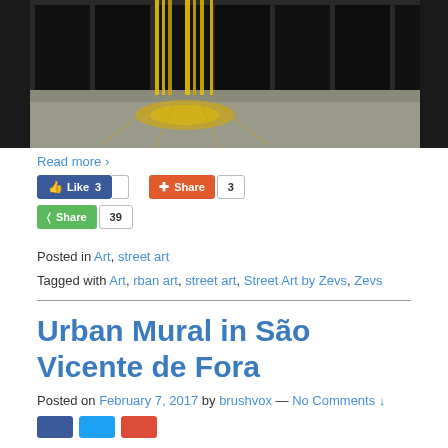[Figure (photo): Photo of a building facade with yellow streaks/drips running down dark windows onto a stone pavement below]
Read more ›
[Figure (infographic): Social sharing buttons: Facebook Like 3, Share 3, Share 39]
Posted in Art, street art
Tagged with Art, rban art, street art, Street Art by Zevs, Zevs
Urban Mural in São Vicente de Fora
Posted on February 7, 2017 by brushvox — No Comments ↓